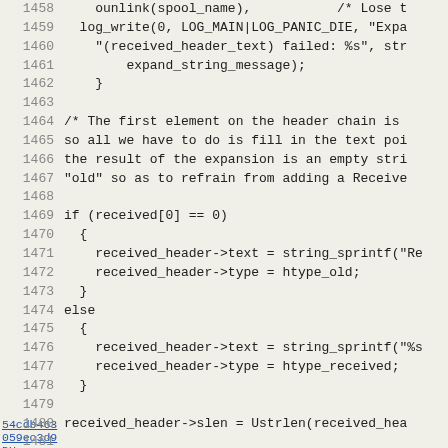[Figure (screenshot): Source code viewer showing C code lines 1458-1490, with line numbers, commit hashes in left margin, and code content. Monospace font on light beige background.]